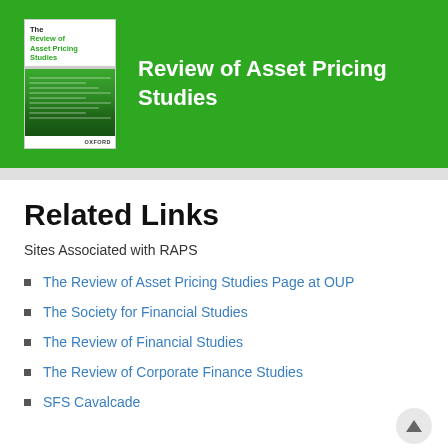[Figure (illustration): Green banner header showing the journal cover thumbnail of 'The Review of Asset Pricing Studies' (Oxford University Press) on the left, and the journal title text in white on the right.]
Related Links
Sites Associated with RAPS
The Review of Asset Pricing Studies Page at OUP
The Society for Financial Studies
The Review of Financial Studies
The Review of Corporate Finance Studies
SFS Cavalcade